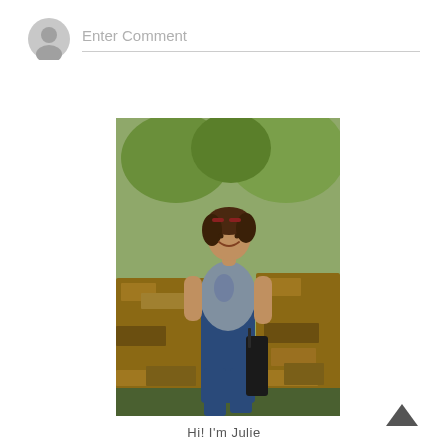Enter Comment
[Figure (photo): A smiling young woman with short brown hair and sunglasses on her head, wearing a gray t-shirt and dark jeans, standing in front of a large pile of cut firewood logs with green trees in the background]
Hi! I'm Julie